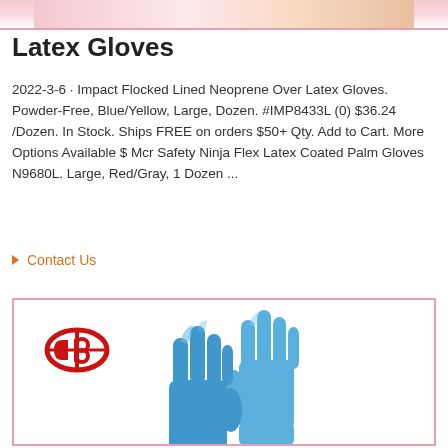[Figure (photo): Top strip image of latex gloves product, partially cropped]
Latex Gloves
2022-3-6 · Impact Flocked Lined Neoprene Over Latex Gloves. Powder-Free, Blue/Yellow, Large, Dozen. #IMP8433L (0) $36.24 /Dozen. In Stock. Ships FREE on orders $50+ Qty. Add to Cart. More Options Available $ Mcr Safety Ninja Flex Latex Coated Palm Gloves N9680L. Large, Red/Gray, 1 Dozen ...
▸ Contact Us
[Figure (photo): Product image showing blue nitrile/latex gloves with a red logo (stylized db or shield icon) in the top left corner, displayed in a pink-bordered box]